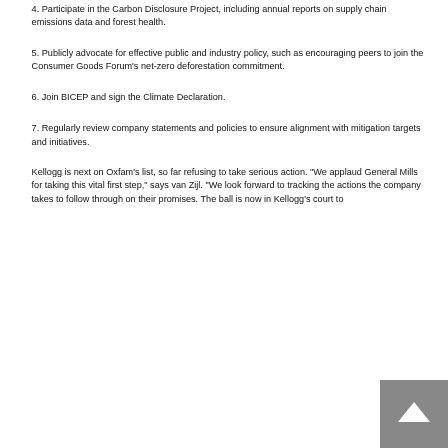4. Participate in the Carbon Disclosure Project, including annual reports on supply chain emissions data and forest health.
5. Publicly advocate for effective public and industry policy, such as encouraging peers to join the Consumer Goods Forum's net-zero deforestation commitment.
6. Join BICEP and sign the Climate Declaration.
7. Regularly review company statements and policies to ensure alignment with mitigation targets and initiatives.
Kellogg is next on Oxfam's list, so far refusing to take serious action. "We applaud General Mills for taking this vital first step," says van Zijl. "We look forward to tracking the actions the company takes to follow through on their promises. The ball is now in Kellogg's court to